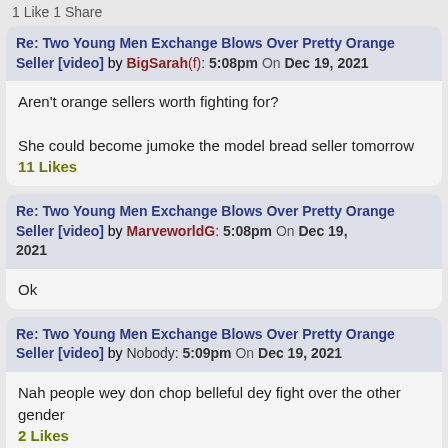1 Like 1 Share
Re: Two Young Men Exchange Blows Over Pretty Orange Seller [video] by BigSarah(f): 5:08pm On Dec 19, 2021
Aren't orange sellers worth fighting for?

She could become jumoke the model bread seller tomorrow
11 Likes
Re: Two Young Men Exchange Blows Over Pretty Orange Seller [video] by MarveworldG: 5:08pm On Dec 19, 2021
Ok
Re: Two Young Men Exchange Blows Over Pretty Orange Seller [video] by Nobody: 5:09pm On Dec 19, 2021
Nah people wey don chop belleful dey fight over the other gender
2 Likes